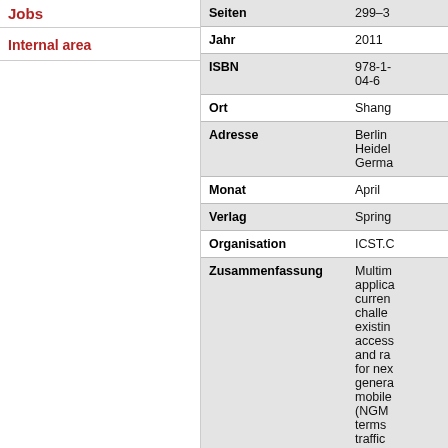Jobs
Internal area
| Field | Value |
| --- | --- |
| Seiten | 299–3 |
| Jahr | 2011 |
| ISBN | 978-1-04-6 |
| Ort | Shang |
| Adresse | Berlin Heidel Germa |
| Monat | April |
| Verlag | Spring |
| Organisation | ICST.C |
| Zusammenfassung | Multim applica curren challe existin access and ra for ne genera mobile (NGM terms traffic |